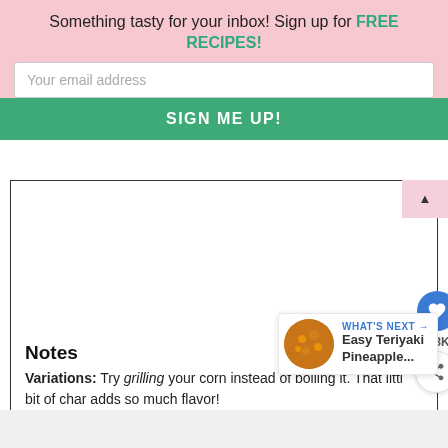Something tasty for your inbox! Sign up for FREE RECIPES!
Your email address
SIGN ME UP!
[Figure (other): Empty white space inside recipe card]
Notes
Variations: Try grilling your corn instead of boiling it. That little bit of char adds so much flavor!
WHAT'S NEXT → Easy Teriyaki Pineapple...